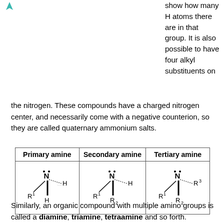[Figure (other): Small teal/green arrow or pointer icon in top-left corner]
show how many H atoms there are in that group. It is also possible to have four alkyl substituents on the nitrogen. These compounds have a charged nitrogen center, and necessarily come with a negative counterion, so they are called quaternary ammonium salts.
| Primary amine | Secondary amine | Tertiary amine |
| --- | --- | --- |
| [structure: R1-N(H)H with lone pair] | [structure: R1-N(H)R2 with lone pair] | [structure: R1-N(R3)R2 with lone pair] |
Similarly, an organic compound with multiple amino groups is called a diamine, triamine, tetraamine and so forth.